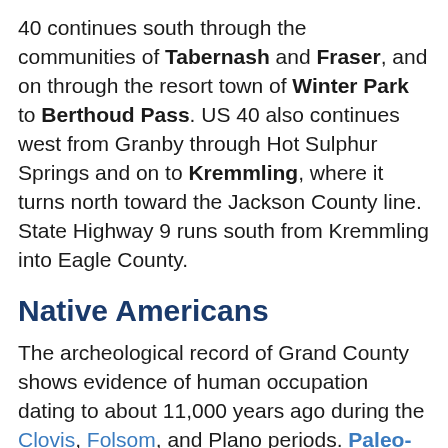40 continues south through the communities of Tabernash and Fraser, and on through the resort town of Winter Park to Berthoud Pass. US 40 also continues west from Granby through Hot Sulphur Springs and on to Kremmling, where it turns north toward the Jackson County line. State Highway 9 runs south from Kremmling into Eagle County.
Native Americans
The archeological record of Grand County shows evidence of human occupation dating to about 11,000 years ago during the Clovis, Folsom, and Plano periods. Paleo-Indians occupied the area until about 7,500 years ago. The projectile points found throughout the region display a variety of